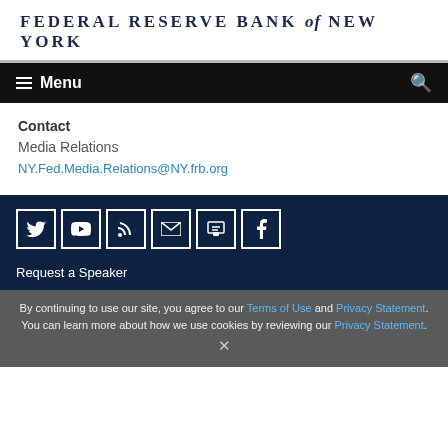FEDERAL RESERVE BANK of NEW YORK
Menu
Contact
Media Relations
NY.Fed.Media.Relations@NY.frb.org
[Figure (other): Social media icons: Twitter, YouTube, RSS, Email, Slideshare, Facebook]
Request a Speaker
By continuing to use our site, you agree to our Terms of Use and Privacy Statement. You can learn more about how we use cookies by reviewing our Privacy Statement.